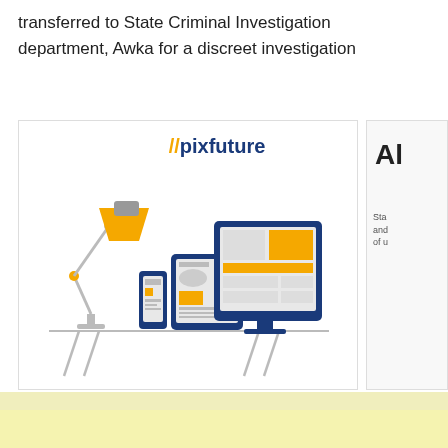transferred to State Criminal Investigation department, Awka for a discreet investigation
[Figure (illustration): Pixfuture advertisement banner showing a desk lamp, phone, tablet, and desktop monitor with layout mockups, and the pixfuture logo in blue and yellow.]
Al  Sta and of u